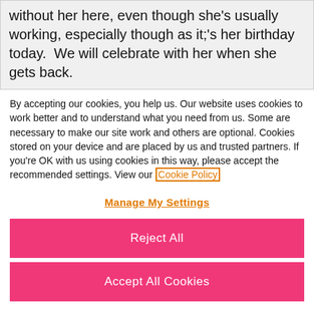without her here, even though she's usually working, especially though as it;'s her birthday today.  We will celebrate with her when she gets back.
By accepting our cookies, you help us. Our website uses cookies to work better and to understand what you need from us. Some are necessary to make our site work and others are optional. Cookies stored on your device and are placed by us and trusted partners. If you're OK with us using cookies in this way, please accept the recommended settings. View our Cookie Policy
Manage My Settings
Reject All
Accept All Cookies